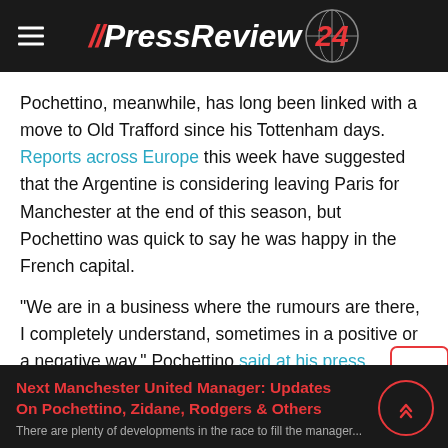// PressReview 24
Pochettino, meanwhile, has long been linked with a move to Old Trafford since his Tottenham days. Reports across Europe this week have suggested that the Argentine is considering leaving Paris for Manchester at the end of this season, but Pochettino was quick to say he was happy in the French capital.
"We are in a business where the rumours are there, I completely understand, sometimes in a positive or a negative way," Pochettino said at his press conference. "I'm not distracted.
Next Manchester United Manager: Updates On Pochettino, Zidane, Rodgers & Others
There are plenty of developments in the race to fill the manager...